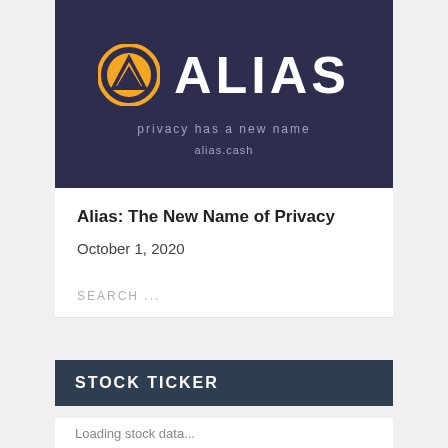[Figure (logo): Alias cryptocurrency logo: orange circle with triangle/arrow icon, white text ALIAS, tagline 'privacy has a new name', website alias.cash, all on dark navy background]
Alias: The New Name of Privacy
October 1, 2020
SEARCH ...
STOCK TICKER
Loading stock data...